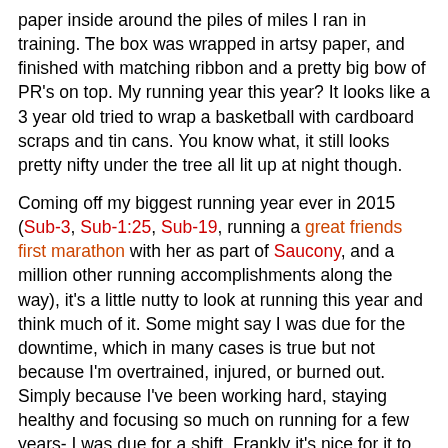paper inside around the piles of miles I ran in training. The box was wrapped in artsy paper, and finished with matching ribbon and a pretty big bow of PR's on top. My running year this year? It looks like a 3 year old tried to wrap a basketball with cardboard scraps and tin cans. You know what, it still looks pretty nifty under the tree all lit up at night though.
Coming off my biggest running year ever in 2015 (Sub-3, Sub-1:25, Sub-19, running a great friends first marathon with her as part of Saucony, and a million other running accomplishments along the way), it's a little nutty to look at running this year and think much of it. Some might say I was due for the downtime, which in many cases is true but not because I'm overtrained, injured, or burned out. Simply because I've been working hard, staying healthy and focusing so much on running for a few years- I was due for a shift. Frankly it's nice for it to be on my terms (for the most part), taking a break before it becomes forced.
To say it's been 100% easy to sit back and reflect on my running year though wouldn't be realistic. I'm a very numbers oriented person, and if I were to judge my 2016 running year